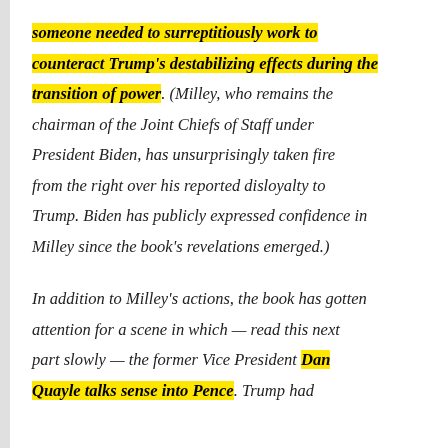someone needed to surreptitiously work to counteract Trump's destabilizing effects during the transition of power. (Milley, who remains the chairman of the Joint Chiefs of Staff under President Biden, has unsurprisingly taken fire from the right over his reported disloyalty to Trump. Biden has publicly expressed confidence in Milley since the book's revelations emerged.)
In addition to Milley's actions, the book has gotten attention for a scene in which — read this next part slowly — the former Vice President Dan Quayle talks sense into Pence. Trump had